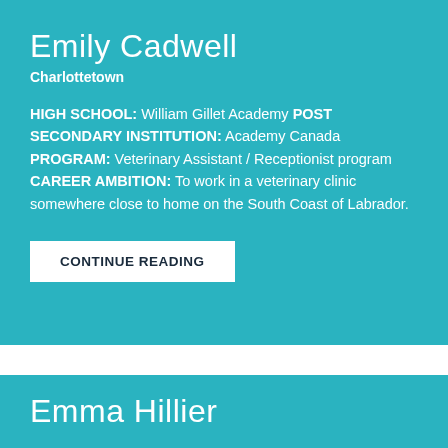Emily Cadwell
Charlottetown
HIGH SCHOOL: William Gillet Academy POST SECONDARY INSTITUTION: Academy Canada PROGRAM: Veterinary Assistant / Receptionist program CAREER AMBITION: To work in a veterinary clinic somewhere close to home on the South Coast of Labrador.
CONTINUE READING
Emma Hillier